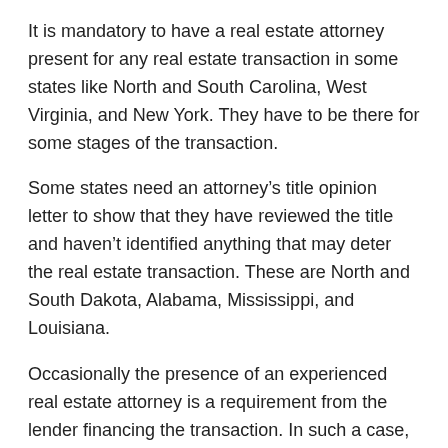It is mandatory to have a real estate attorney present for any real estate transaction in some states like North and South Carolina, West Virginia, and New York. They have to be there for some stages of the transaction.
Some states need an attorney's title opinion letter to show that they have reviewed the title and haven't identified anything that may deter the real estate transaction. These are North and South Dakota, Alabama, Mississippi, and Louisiana.
Occasionally the presence of an experienced real estate attorney is a requirement from the lender financing the transaction. In such a case, they represent the interests of the lender, who usually settle their fees.
You can enlist the services of an attorney even when your state does not require one. However, the legal jargon can